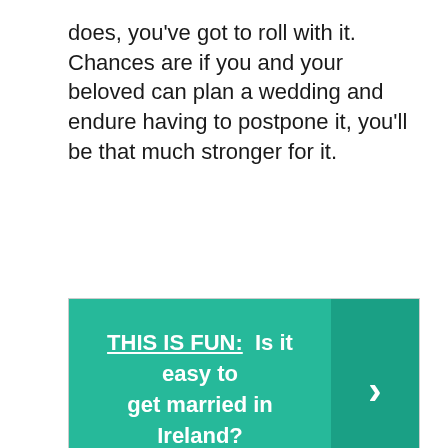does, you've got to roll with it. Chances are if you and your beloved can plan a wedding and endure having to postpone it, you'll be that much stronger for it.
[Figure (infographic): Teal banner with bold white text reading 'THIS IS FUN: Is it easy to get married in Ireland?' and a darker teal right-arrow chevron button on the right side]